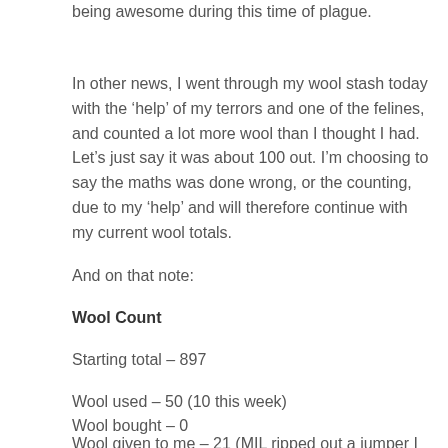being awesome during this time of plague.
In other news, I went through my wool stash today with the ‘help’ of my terrors and one of the felines, and counted a lot more wool than I thought I had. Let’s just say it was about 100 out. I’m choosing to say the maths was done wrong, or the counting, due to my ‘help’ and will therefore continue with my current wool totals.
And on that note:
Wool Count
Starting total – 897
Wool used – 50 (10 this week)
Wool bought – 0
Wool given to me – 21 (MIL ripped out a jumper I made for FIL many, many years ago as he has lost a of of weight since